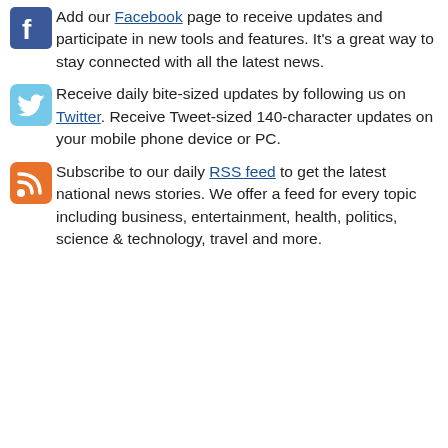Add our Facebook page to receive updates and participate in new tools and features. It's a great way to stay connected with all the latest news.
Receive daily bite-sized updates by following us on Twitter. Receive Tweet-sized 140-character updates on your mobile phone device or PC.
Subscribe to our daily RSS feed to get the latest national news stories. We offer a feed for every topic including business, entertainment, health, politics, science & technology, travel and more.